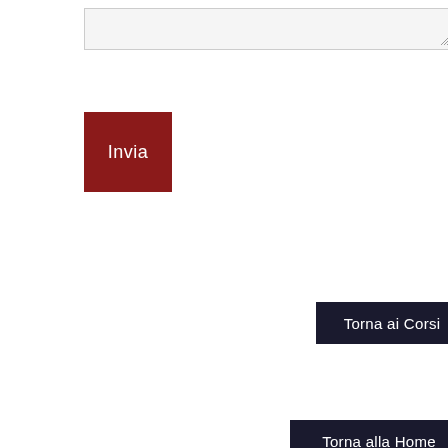[Figure (screenshot): A textarea input box with resize handle in the bottom-right corner]
Invia
Torna ai Corsi
Torna alla Home